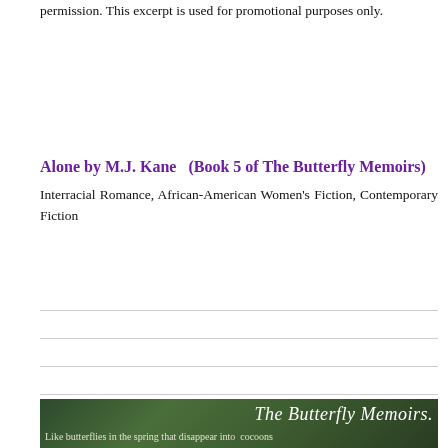permission. This excerpt is used for promotional purposes only.
Alone by M.J. Kane  (Book 5 of The Butterfly Memoirs)
Interracial Romance, African-American Women's Fiction, Contemporary Fiction
[Figure (illustration): Book cover image for The Butterfly Memoirs series with dark green nature background. White italic text reads 'The Butterfly Memoirs.' Below it in smaller white text: 'Like butterflies in the spring that disappear into cocoons']